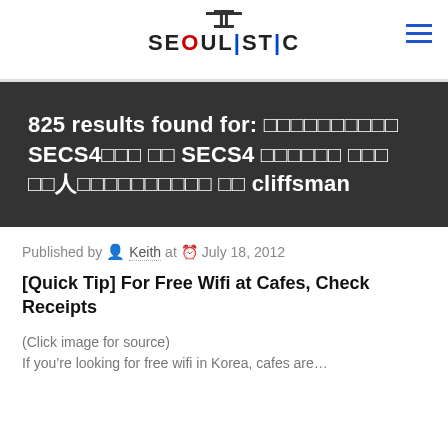SEOULISTIC
825 results found for: □□□□□□□□□□ SECS4□□□ □□ SECS4 □□□□□□ □□□ □□人□□□□□□□□□□ □□ cliffsman
Published by Keith at July 18, 2012
[Quick Tip] For Free Wifi at Cafes, Check Receipts
(Click image for source)
If you're looking for free wifi in Korea, cafes are…